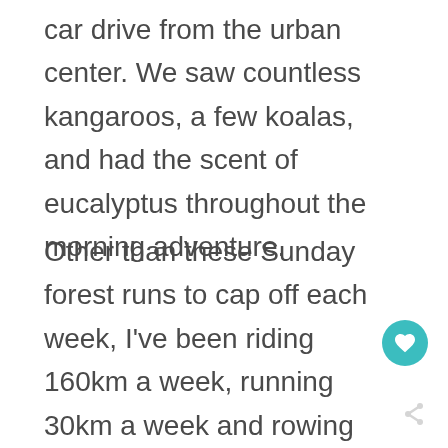car drive from the urban center. We saw countless kangaroos, a few koalas, and had the scent of eucalyptus throughout the morning adventure.
Other than these Sunday forest runs to cap off each week, I've been riding 160km a week, running 30km a week and rowing 30km a week. I've been keeping at the blogging at a somewhat reduced rate… but the wheels are still turning in this period of global stands.